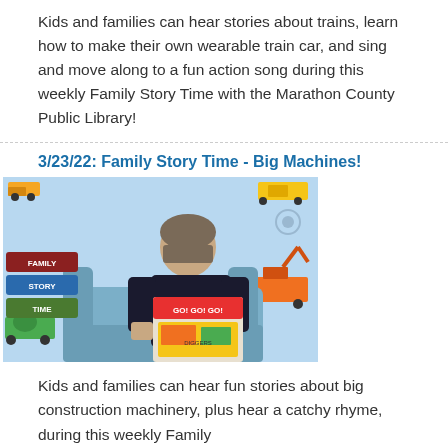Kids and families can hear stories about trains, learn how to make their own wearable train car, and sing and move along to a fun action song during this weekly Family Story Time with the Marathon County Public Library!
3/23/22: Family Story Time - Big Machines!
[Figure (photo): A man sitting on a blue chair holding a children's book titled 'GO! GO! GO!' with construction vehicle imagery. Background features a light blue wall decorated with construction vehicles. A 'Family Story Time' logo sign is visible on the left.]
Kids and families can hear fun stories about big construction machinery, plus hear a catchy rhyme, during this weekly Family